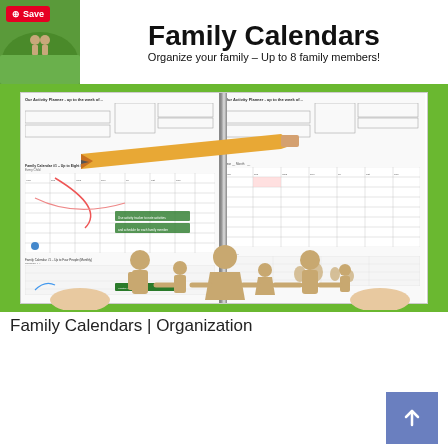[Figure (screenshot): Pinterest save button overlay on top-left of image]
[Figure (illustration): Family Calendars promotional image showing a header with title 'Family Calendars – Organize your family – Up to 8 family members!' with a photo of hands on green background on the left, and a book preview showing calendar pages with a pencil across the spine, and paper family cutout figures at the bottom]
Family Calendars | Organization